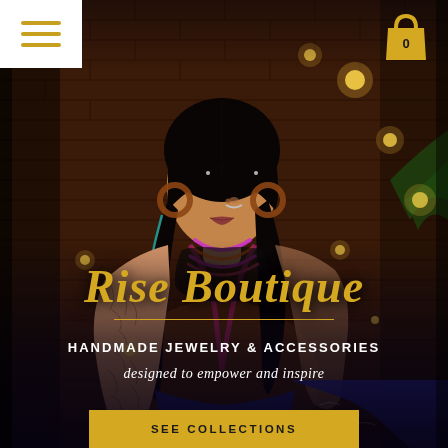[Figure (photo): Screenshot of Rise Boutique website homepage. A young woman with long braided dark hair, wooden hoop earrings, turquoise feather earrings, colorful beaded necklaces, and visible arm tattoos stands in front of a brick wall with bokeh string lights. She wears a black top and blue patterned fabric.]
Rise Boutique
HANDMADE JEWELRY & ACCESSORIES
designed to empower and inspire
SEE COLLECTIONS